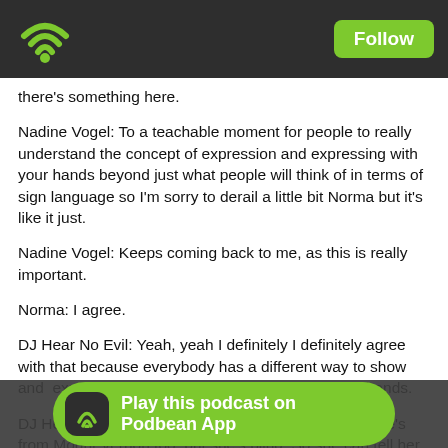Podbean podcast app header with wifi logo and Follow button
there's something here.
Nadine Vogel: To a teachable moment for people to really understand the concept of expression and expressing with your hands beyond just what people will think of in terms of sign language so I'm sorry to derail a little bit Norma but it's like it just.
Nadine Vogel: Keeps coming back to me, as this is really important.
Norma: I agree.
DJ Hear No Evil: Yeah, yeah I definitely I definitely agree with that because everybody has a different way to show and  express their story. And not just to move their hands.
DJ Hear No Evil: There is one female who is blind. She's from Mount Vernon too, but she's blind. So she can tell her story.
DJ Hear No Evil: You know, a basketball player I think he didn't graduate from high school yet , but he is hearing, but he's playing with one arm
DJ Hear N
Play this podcast on Podbean App